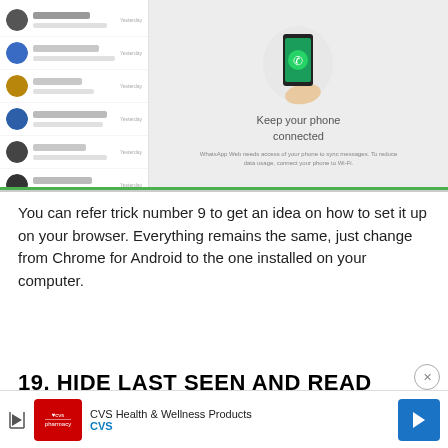[Figure (screenshot): Screenshot of WhatsApp Web interface showing a chat list on the left with blurred contact names and avatars, and on the right the WhatsApp Web 'Keep your phone connected' welcome screen with a phone illustration and subtitle text.]
You can refer trick number 9 to get an idea on how to set it up on your browser. Everything remains the same, just change from Chrome for Android to the one installed on your computer.
19. HIDE LAST SEEN AND READ STA...
[Figure (screenshot): Advertisement banner for CVS Health & Wellness Products with CVS logo, navigation arrow icon, and close button.]